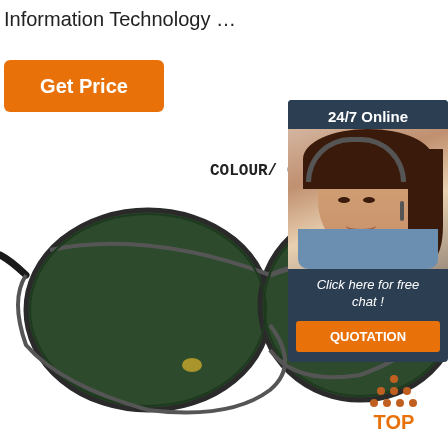Information Technology …
[Figure (other): Orange 'Get Price' button]
[Figure (photo): Aviator sunglasses with dark green polarized lenses and gun gray frame. Text overlay reads '(Polarizer)' and 'COLOUR/ Gun gray frame dark .']
[Figure (photo): Customer service representative with headset, '24/7 Online' label above, 'Click here for free chat!' text and orange 'QUOTATION' button below, on dark navy background]
[Figure (other): Orange 'TOP' button with arrow dots icon]